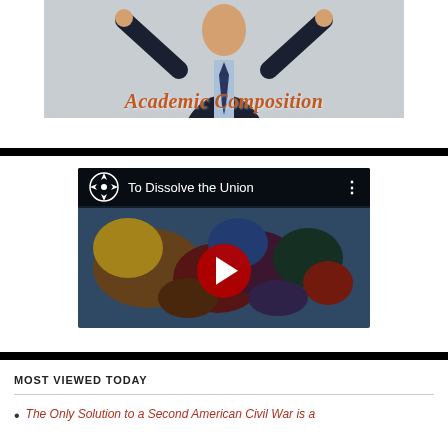[Figure (photo): Banner image of a man in a dark suit with arms raised, with 'Academic Composition' text overlay in orange-red italic font on a gray background.]
[Figure (screenshot): YouTube video thumbnail titled 'To Dissolve the Union' showing a colorful map of the United States with various colors representing different regions, with a red play button in the center.]
MOST VIEWED TODAY
The Only Solution to a Second American Civil War is a